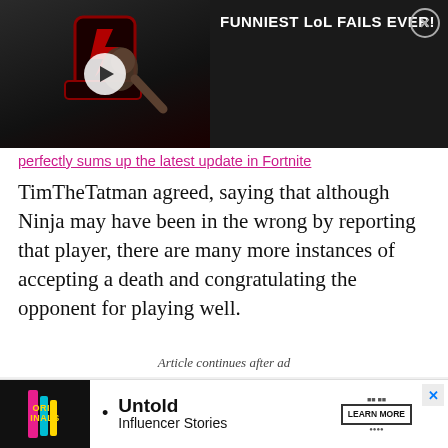[Figure (screenshot): Video player thumbnail showing a gaming chair with a person, with a play button overlay. Title reads 'FUNNIEST LoL FAILS EVER!' with a close button.]
perfectly sums up the latest update in Fortnite
TimTheTatman agreed, saying that although Ninja may have been in the wrong by reporting that player, there are many more instances of accepting a death and congratulating the opponent for playing well.
Article continues after ad
[Figure (screenshot): Advertisement with circular target-like graphic, black squares, and close button.]
[Figure (screenshot): Bottom ad bar: Originals logo, 'Untold Influencer Stories', Learn More button, close button.]